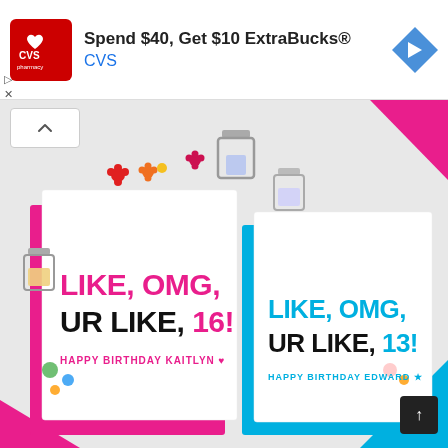[Figure (screenshot): CVS pharmacy advertisement banner: 'Spend $40, Get $10 ExtraBucks® CVS' with CVS logo and navigation arrow icon. Below the ad is a photograph of two personalized birthday greeting cards on a white surface with decorative clips and confetti. Left card (pink): 'LIKE, OMG, UR LIKE, 16! HAPPY BIRTHDAY KAITLYN ♥'. Right card (blue): 'LIKE, OMG, UR LIKE, 13! HAPPY BIRTHDAY EDWARD ★'.]